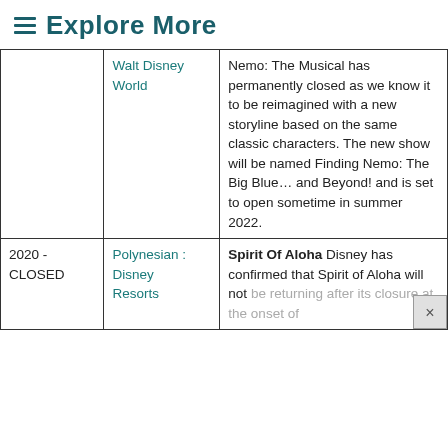≡ Explore More
|  | Location | Description |
| --- | --- | --- |
|  | Walt Disney World | Nemo: The Musical has permanently closed as we know it to be reimagined with a new storyline based on the same classic characters. The new show will be named Finding Nemo: The Big Blue… and Beyond! and is set to open sometime in summer 2022. |
| 2020 - CLOSED | Polynesian : Disney Resorts | Spirit Of Aloha Disney has confirmed that Spirit of Aloha will not be returning after its closure at the onset of |